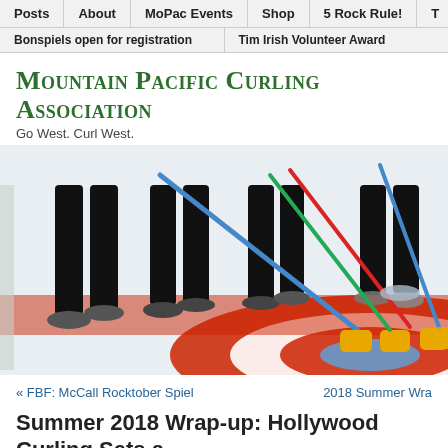Posts | About | MoPac Events | Shop | 5 Rock Rule! | T
Bonspiels open for registration | Tim Irish Volunteer Award
Mountain Pacific Curling Association
Go West. Curl West.
[Figure (photo): Curling players on ice with yellow-headed brooms, standing on the red and blue target circle]
« FBF: McCall Rocktober Spiel      2018 Summer Wra
Summer 2018 Wrap-up: Hollywood Curling Sets a
August 14, 2018 by Sonia Montero